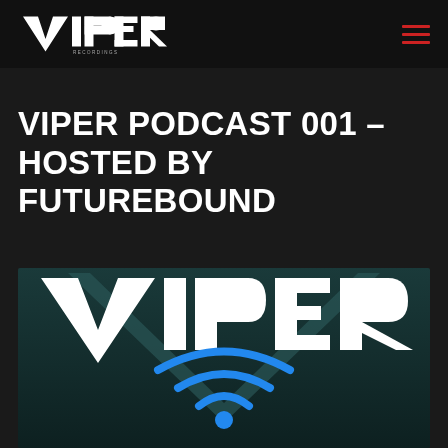VIPER Recordings logo and navigation menu
VIPER PODCAST 001 – HOSTED BY FUTUREBOUND
[Figure (logo): Viper Recordings podcast cover art showing the VIPER logo text in white over a dark teal background with a large V shape and blue WiFi/podcast signal arcs in the center]